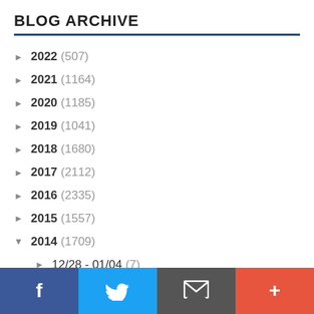BLOG ARCHIVE
► 2022 (507)
► 2021 (1164)
► 2020 (1185)
► 2019 (1041)
► 2018 (1680)
► 2017 (2112)
► 2016 (2335)
► 2015 (1557)
▼ 2014 (1709)
► 12/28 - 01/04 (7)
► 12/21 - 12/28 (10)
[Figure (other): Facebook share button]
[Figure (other): Twitter share button]
[Figure (other): Email/subscribe button]
[Figure (other): More/plus button]